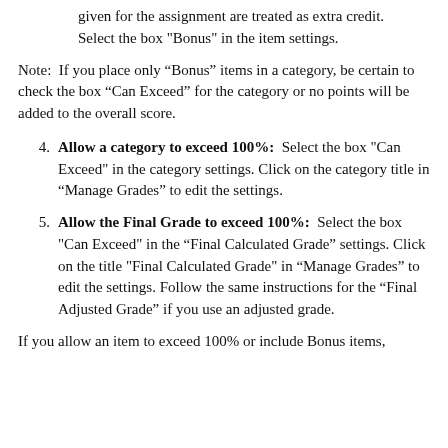given for the assignment are treated as extra credit. Select the box "Bonus" in the item settings.
Note:  If you place only “Bonus” items in a category, be certain to check the box “Can Exceed” for the category or no points will be added to the overall score.
4. Allow a category to exceed 100%:  Select the box "Can Exceed" in the category settings. Click on the category title in “Manage Grades” to edit the settings.
5. Allow the Final Grade to exceed 100%:  Select the box "Can Exceed" in the “Final Calculated Grade” settings. Click on the title "Final Calculated Grade" in “Manage Grades” to edit the settings. Follow the same instructions for the “Final Adjusted Grade” if you use an adjusted grade.
If you allow an item to exceed 100% or include Bonus items,